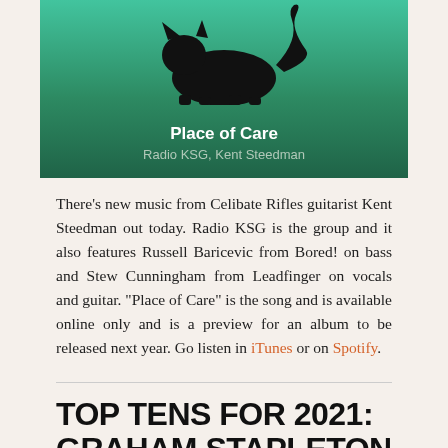[Figure (illustration): Album artwork for 'Place of Care' by Radio KSG, Kent Steedman. Green gradient background with a black cat silhouette. Title 'Place of Care' in white bold text and artist 'Radio KSG, Kent Steedman' in light grey text below.]
There's new music from Celibate Rifles guitarist Kent Steedman out today. Radio KSG is the group and it also features Russell Baricevic from Bored! on bass and Stew Cunningham from Leadfinger on vocals and guitar. "Place of Care" is the song and is available online only and is a preview for an album to be released next year. Go listen in iTunes or on Spotify.
TOP TENS FOR 2021: GRAHAM STAPLETON